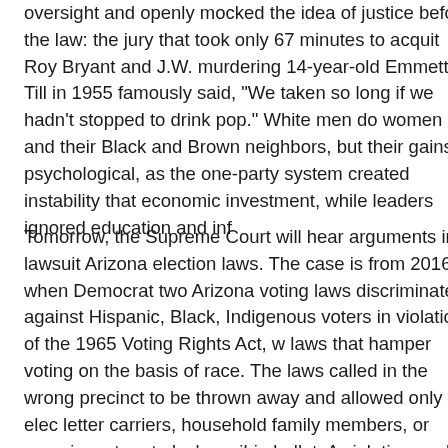oversight and openly mocked the idea of justice before the law: the jury that took only 67 minutes to acquit Roy Bryant and J.W. murdering 14-year-old Emmett Till in 1955 famously said, "We taken so long if we hadn't stopped to drink pop." White men do women and their Black and Brown neighbors, but their gains w psychological, as the one-party system created instability that economic investment, while leaders ignored education and inf
Tomorrow, the Supreme Court will hear arguments in a lawsuit Arizona election laws. The case is from 2016, when Democrat two Arizona voting laws discriminated against Hispanic, Black, Indigenous voters in violation of the 1965 Voting Rights Act, w laws that hamper voting on the basis of race. The laws called in the wrong precinct to be thrown away and allowed only elec letter carriers, household family members, or caregivers to ret else's mail-in ballot. A violation could bring a $150,000 fine. Th decision in this case will have big implications for the legitimac restrictions Republican legislatures are trying to enact now.